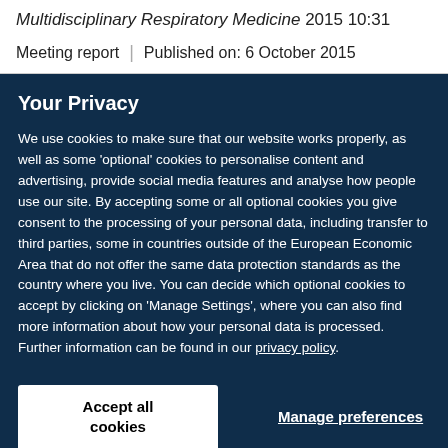Multidisciplinary Respiratory Medicine 2015 10:31
Meeting report | Published on: 6 October 2015
Your Privacy
We use cookies to make sure that our website works properly, as well as some 'optional' cookies to personalise content and advertising, provide social media features and analyse how people use our site. By accepting some or all optional cookies you give consent to the processing of your personal data, including transfer to third parties, some in countries outside of the European Economic Area that do not offer the same data protection standards as the country where you live. You can decide which optional cookies to accept by clicking on 'Manage Settings', where you can also find more information about how your personal data is processed. Further information can be found in our privacy policy.
Accept all cookies
Manage preferences